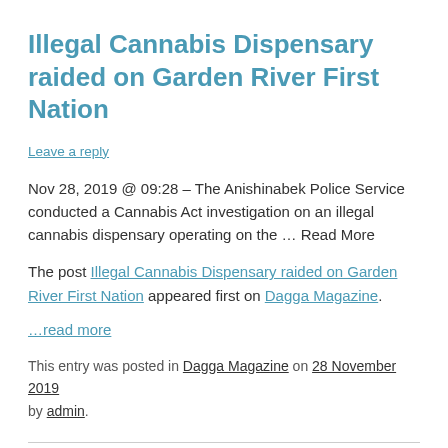Illegal Cannabis Dispensary raided on Garden River First Nation
Leave a reply
Nov 28, 2019 @ 09:28 – The Anishinabek Police Service conducted a Cannabis Act investigation on an illegal cannabis dispensary operating on the ... Read More
The post Illegal Cannabis Dispensary raided on Garden River First Nation appeared first on Dagga Magazine.
...read more
This entry was posted in Dagga Magazine on 28 November 2019 by admin.